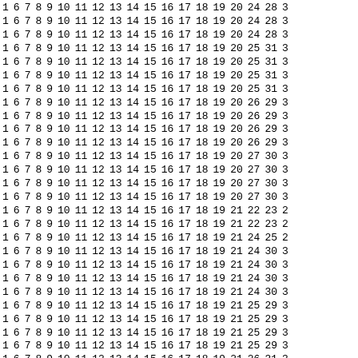| 1 | 6 | 7 | 8 | 9 | 10 | 11 | 12 | 13 | 14 | 15 | 16 | 17 | 18 | 19 | 20 | 24 | 28 | 3 |
| 1 | 6 | 7 | 8 | 9 | 10 | 11 | 12 | 13 | 14 | 15 | 16 | 17 | 18 | 19 | 20 | 24 | 28 | 3 |
| 1 | 6 | 7 | 8 | 9 | 10 | 11 | 12 | 13 | 14 | 15 | 16 | 17 | 18 | 19 | 20 | 24 | 28 | 3 |
| 1 | 6 | 7 | 8 | 9 | 10 | 11 | 12 | 13 | 14 | 15 | 16 | 17 | 18 | 19 | 20 | 25 | 31 | 3 |
| 1 | 6 | 7 | 8 | 9 | 10 | 11 | 12 | 13 | 14 | 15 | 16 | 17 | 18 | 19 | 20 | 25 | 31 | 3 |
| 1 | 6 | 7 | 8 | 9 | 10 | 11 | 12 | 13 | 14 | 15 | 16 | 17 | 18 | 19 | 20 | 25 | 31 | 3 |
| 1 | 6 | 7 | 8 | 9 | 10 | 11 | 12 | 13 | 14 | 15 | 16 | 17 | 18 | 19 | 20 | 25 | 31 | 3 |
| 1 | 6 | 7 | 8 | 9 | 10 | 11 | 12 | 13 | 14 | 15 | 16 | 17 | 18 | 19 | 20 | 26 | 29 | 3 |
| 1 | 6 | 7 | 8 | 9 | 10 | 11 | 12 | 13 | 14 | 15 | 16 | 17 | 18 | 19 | 20 | 26 | 29 | 3 |
| 1 | 6 | 7 | 8 | 9 | 10 | 11 | 12 | 13 | 14 | 15 | 16 | 17 | 18 | 19 | 20 | 26 | 29 | 3 |
| 1 | 6 | 7 | 8 | 9 | 10 | 11 | 12 | 13 | 14 | 15 | 16 | 17 | 18 | 19 | 20 | 26 | 29 | 3 |
| 1 | 6 | 7 | 8 | 9 | 10 | 11 | 12 | 13 | 14 | 15 | 16 | 17 | 18 | 19 | 20 | 27 | 30 | 3 |
| 1 | 6 | 7 | 8 | 9 | 10 | 11 | 12 | 13 | 14 | 15 | 16 | 17 | 18 | 19 | 20 | 27 | 30 | 3 |
| 1 | 6 | 7 | 8 | 9 | 10 | 11 | 12 | 13 | 14 | 15 | 16 | 17 | 18 | 19 | 20 | 27 | 30 | 3 |
| 1 | 6 | 7 | 8 | 9 | 10 | 11 | 12 | 13 | 14 | 15 | 16 | 17 | 18 | 19 | 20 | 27 | 30 | 3 |
| 1 | 6 | 7 | 8 | 9 | 10 | 11 | 12 | 13 | 14 | 15 | 16 | 17 | 18 | 19 | 21 | 22 | 23 | 2 |
| 1 | 6 | 7 | 8 | 9 | 10 | 11 | 12 | 13 | 14 | 15 | 16 | 17 | 18 | 19 | 21 | 22 | 23 | 2 |
| 1 | 6 | 7 | 8 | 9 | 10 | 11 | 12 | 13 | 14 | 15 | 16 | 17 | 18 | 19 | 21 | 24 | 25 | 2 |
| 1 | 6 | 7 | 8 | 9 | 10 | 11 | 12 | 13 | 14 | 15 | 16 | 17 | 18 | 19 | 21 | 24 | 30 | 3 |
| 1 | 6 | 7 | 8 | 9 | 10 | 11 | 12 | 13 | 14 | 15 | 16 | 17 | 18 | 19 | 21 | 24 | 30 | 3 |
| 1 | 6 | 7 | 8 | 9 | 10 | 11 | 12 | 13 | 14 | 15 | 16 | 17 | 18 | 19 | 21 | 24 | 30 | 3 |
| 1 | 6 | 7 | 8 | 9 | 10 | 11 | 12 | 13 | 14 | 15 | 16 | 17 | 18 | 19 | 21 | 24 | 30 | 3 |
| 1 | 6 | 7 | 8 | 9 | 10 | 11 | 12 | 13 | 14 | 15 | 16 | 17 | 18 | 19 | 21 | 25 | 29 | 3 |
| 1 | 6 | 7 | 8 | 9 | 10 | 11 | 12 | 13 | 14 | 15 | 16 | 17 | 18 | 19 | 21 | 25 | 29 | 3 |
| 1 | 6 | 7 | 8 | 9 | 10 | 11 | 12 | 13 | 14 | 15 | 16 | 17 | 18 | 19 | 21 | 25 | 29 | 3 |
| 1 | 6 | 7 | 8 | 9 | 10 | 11 | 12 | 13 | 14 | 15 | 16 | 17 | 18 | 19 | 21 | 25 | 29 | 3 |
| 1 | 6 | 7 | 8 | 9 | 10 | 11 | 12 | 13 | 14 | 15 | 16 | 17 | 18 | 19 | 21 | 26 | 31 | 3 |
| 1 | 6 | 7 | 8 | 9 | 10 | 11 | 12 | 13 | 14 | 15 | 16 | 17 | 18 | 19 | 21 | 26 | 31 | 3 |
| 1 | 6 | 7 | 8 | 9 | 10 | 11 | 12 | 13 | 14 | 15 | 16 | 17 | 18 | 19 | 21 | 26 | 31 | 3 |
| 1 | 6 | 7 | 8 | 9 | 10 | 11 | 12 | 13 | 14 | 15 | 16 | 17 | 18 | 19 | 21 | 26 | 31 | 3 |